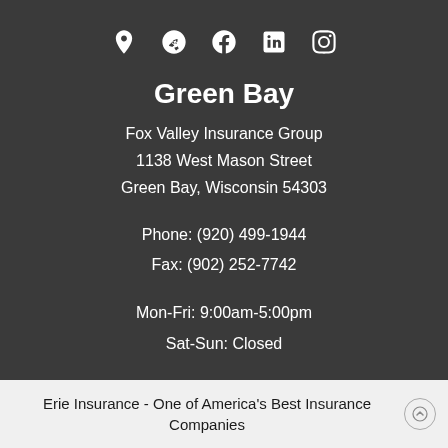[Figure (other): Row of social/map icons: location pin, Yelp, Facebook, LinkedIn, Instagram]
Green Bay
Fox Valley Insurance Group
1138 West Mason Street
Green Bay, Wisconsin 54303
Phone: (920) 499-1944
Fax: (902) 252-7742
Mon-Fri: 9:00am-5:00pm
Sat-Sun: Closed
Erie Insurance - One of America's Best Insurance Companies